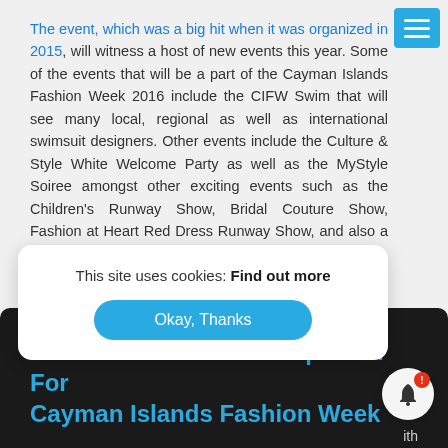The event, which was a big hit when it was organized in 2015, will witness a host of new events this year. Some of the events that will be a part of the Cayman Islands Fashion Week 2016 include the CIFW Swim that will see many local, regional as well as international swimsuit designers. Other events include the Culture & Style White Welcome Party as well as the MyStyle Soiree amongst other exciting events such as the Children's Runway Show, Bridal Couture Show, Fashion at Heart Red Dress Runway Show, and also a Welcome BBQ.
[Figure (screenshot): Dark banner section with cyan/blue heading text: 'Netclues Is An Official Sponsor For Cayman Islands Fashion Week']
This site uses cookies: Find out more
Okay, Thanks
ith